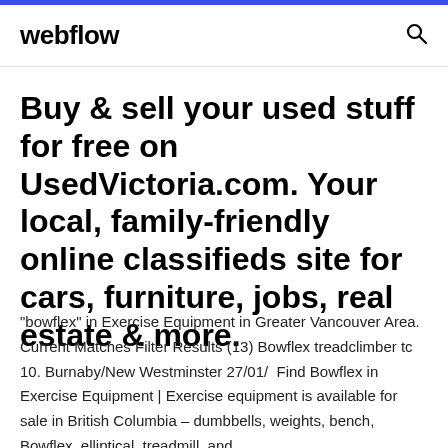webflow
Buy & sell your used stuff for free on UsedVictoria.com. Your local, family-friendly online classifieds site for cars, furniture, jobs, real estate & more.
"bowflex" in Exercise Equipment in Greater Vancouver Area. Current Matches Filter Results (13) Bowflex treadclimber tc 10. Burnaby/New Westminster 27/01/  Find Bowflex in Exercise Equipment | Exercise equipment is available for sale in British Columbia – dumbbells, weights, bench, Bowflex, elliptical, treadmill, and